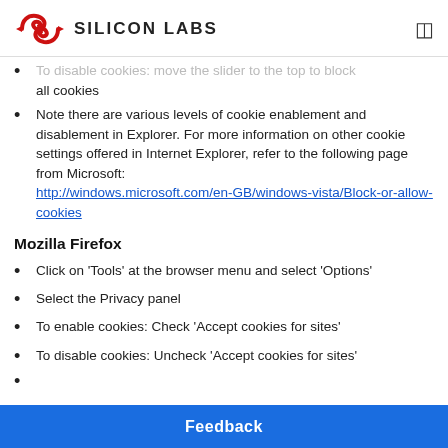SILICON LABS
To disable cookies: move the slider to the top to block all cookies
Note there are various levels of cookie enablement and disablement in Explorer. For more information on other cookie settings offered in Internet Explorer, refer to the following page from Microsoft: http://windows.microsoft.com/en-GB/windows-vista/Block-or-allow-cookies
Mozilla Firefox
Click on 'Tools' at the browser menu and select 'Options'
Select the Privacy panel
To enable cookies: Check 'Accept cookies for sites'
To disable cookies: Uncheck 'Accept cookies for sites'
Feedback